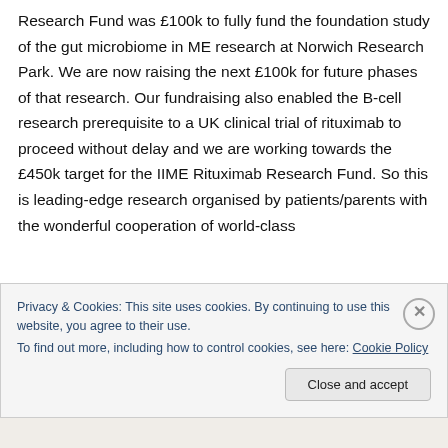Research Fund was £100k to fully fund the foundation study of the gut microbiome in ME research at Norwich Research Park. We are now raising the next £100k for future phases of that research. Our fundraising also enabled the B-cell research prerequisite to a UK clinical trial of rituximab to proceed without delay and we are working towards the £450k target for the IIME Rituximab Research Fund. So this is leading-edge research organised by patients/parents with the wonderful cooperation of world-class
Privacy & Cookies: This site uses cookies. By continuing to use this website, you agree to their use.
To find out more, including how to control cookies, see here: Cookie Policy